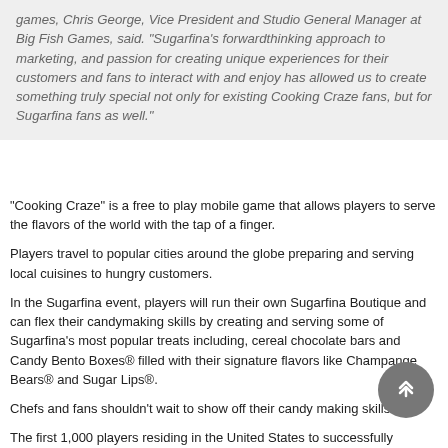games, Chris George, Vice President and Studio General Manager at Big Fish Games, said. "Sugarfina's forwardthinking approach to marketing, and passion for creating unique experiences for their customers and fans to interact with and enjoy has allowed us to create something truly special not only for existing Cooking Craze fans, but for Sugarfina fans as well."
"Cooking Craze" is a free to play mobile game that allows players to serve the flavors of the world with the tap of a finger.
Players travel to popular cities around the globe preparing and serving local cuisines to hungry customers.
In the Sugarfina event, players will run their own Sugarfina Boutique and can flex their candymaking skills by creating and serving some of Sugarfina's most popular treats including, cereal chocolate bars and Candy Bento Boxes® filled with their signature flavors like Champange Bears® and Sugar Lips®.
Chefs and fans shouldn't wait to show off their candy making skills.
The first 1,000 players residing in the United States to successfully complete all 40 levels of the event will be awarded with their very own Candy Bento Box® (a $20 value).
Other candy treats will be hidden throughout the event and rewarded to U.S. and Canadian players who use them...